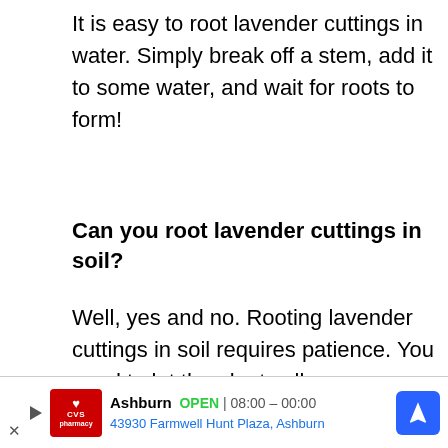It is easy to root lavender cuttings in water. Simply break off a stem, add it to some water, and wait for roots to form!
Can you root lavender cuttings in soil?
Well, yes and no. Rooting lavender cuttings in soil requires patience. You need to let the plant callous over before planting it deep enough into the ground so that its roots are covered by dirt but not buried too deeply. If you bury the stems too quickly, they will rot because they cannot breathe
[Figure (other): CVS Pharmacy advertisement banner showing Ashburn location, open 08:00-00:00, address 43930 Farmwell Hunt Plaza, Ashburn, with navigation arrow icon]